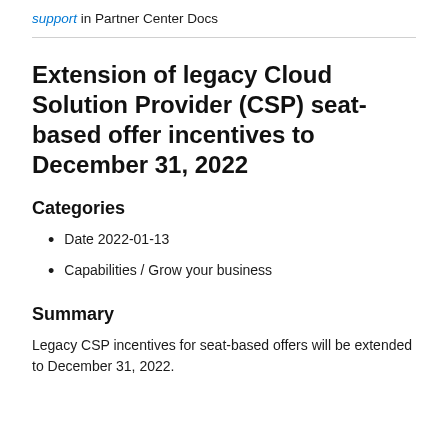support in Partner Center Docs
Extension of legacy Cloud Solution Provider (CSP) seat-based offer incentives to December 31, 2022
Categories
Date 2022-01-13
Capabilities / Grow your business
Summary
Legacy CSP incentives for seat-based offers will be extended to December 31, 2022.